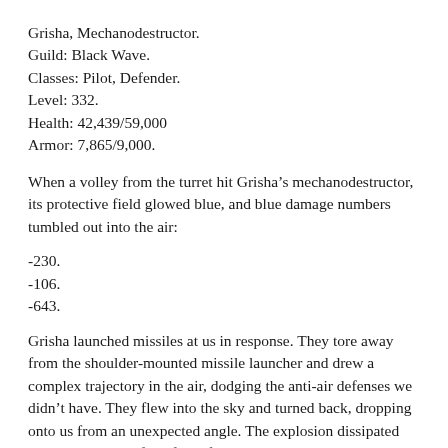Grisha, Mechanodestructor.
Guild: Black Wave.
Classes: Pilot, Defender.
Level: 332.
Health: 42,439/59,000
Armor: 7,865/9,000.
When a volley from the turret hit Grisha’s mechanodestructor, its protective field glowed blue, and blue damage numbers tumbled out into the air:
-230.
-106.
-643.
Grisha launched missiles at us in response. They tore away from the shoulder-mounted missile launcher and drew a complex trajectory in the air, dodging the anti-air defenses we didn’t have. They flew into the sky and turned back, dropping onto us from an unexpected angle. The explosion dissipated across the dome of the force field, reducing its power.
I aimed my sight at the second mechanodestructor:
Fortunado, Mechanodestructor.